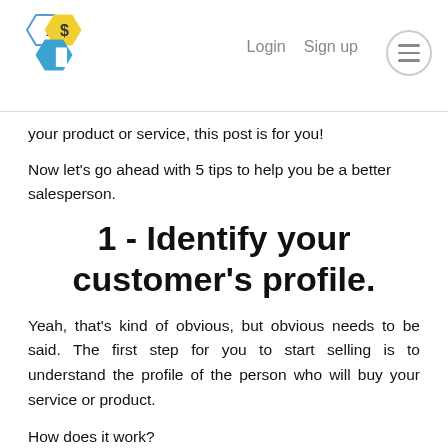Login  Sign up
your product or service, this post is for you!
Now let's go ahead with 5 tips to help you be a better salesperson.
1 - Identify your customer's profile.
Yeah, that's kind of obvious, but obvious needs to be said. The first step for you to start selling is to understand the profile of the person who will buy your service or product.
How does it work?
I'll give you an example, it doesn't matter if you